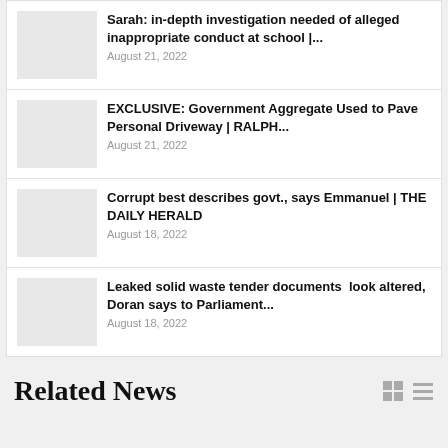Sarah: in-depth investigation needed of alleged inappropriate conduct at school |...
August 21, 2022
EXCLUSIVE: Government Aggregate Used to Pave Personal Driveway | RALPH...
August 21, 2022
Corrupt best describes govt., says Emmanuel | THE DAILY HERALD
August 18, 2022
Leaked solid waste tender documents  look altered, Doran says to Parliament...
August 18, 2022
Related News